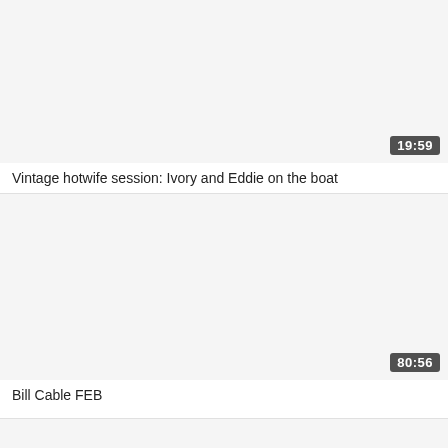[Figure (screenshot): Video thumbnail placeholder (light gray background) for first video with duration badge showing 19:59]
Vintage hotwife session: Ivory and Eddie on the boat
[Figure (screenshot): Video thumbnail placeholder (light gray background) for second video with duration badge showing 80:56]
Bill Cable FEB